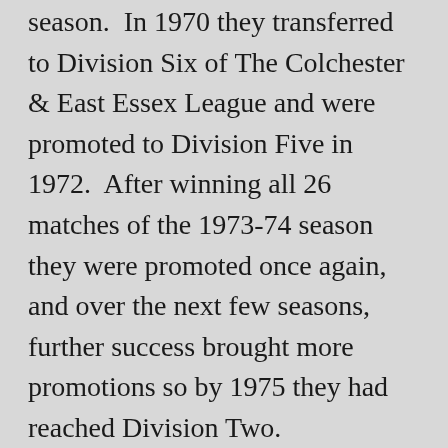season.  In 1970 they transferred to Division Six of The Colchester & East Essex League and were promoted to Division Five in 1972.  After winning all 26 matches of the 1973-74 season they were promoted once again, and over the next few seasons, further success brought more promotions so by 1975 they had reached Division Two.
In 1976 the club switched leagues again, this time to Division One of The Essex and Suffolk Border League.  However, when this league was restructured two seasons later the club were moved down to the Second